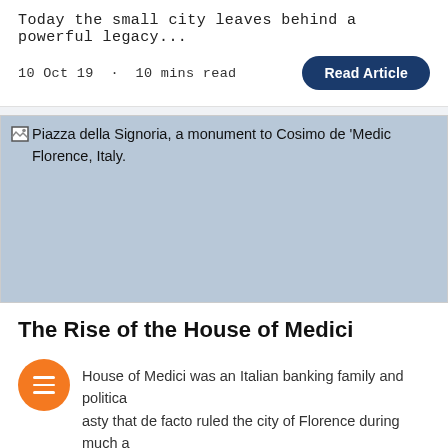Today the small city leaves behind a powerful legacy...
10 Oct 19 · 10 mins read
Read Article
[Figure (photo): Piazza della Signoria, a monument to Cosimo de 'Medici Florence, Italy.]
The Rise of the House of Medici
House of Medici was an Italian banking family and political dynasty that de facto ruled the city of Florence during much of the Italian Renaissance.